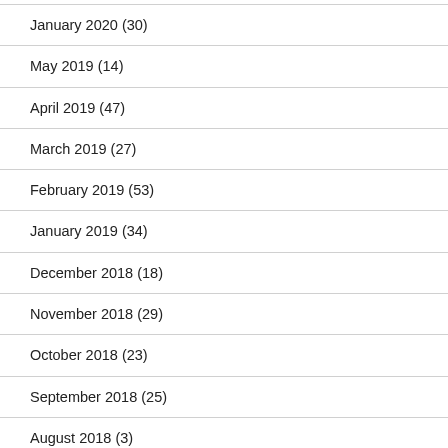January 2020 (30)
May 2019 (14)
April 2019 (47)
March 2019 (27)
February 2019 (53)
January 2019 (34)
December 2018 (18)
November 2018 (29)
October 2018 (23)
September 2018 (25)
August 2018 (3)